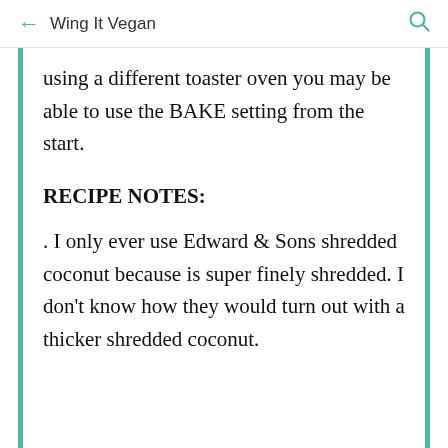← Wing It Vegan 🔍
using a different toaster oven you may be able to use the BAKE setting from the start.
RECIPE NOTES:
. I only ever use Edward & Sons shredded coconut because is super finely shredded. I don't know how they would turn out with a thicker shredded coconut.